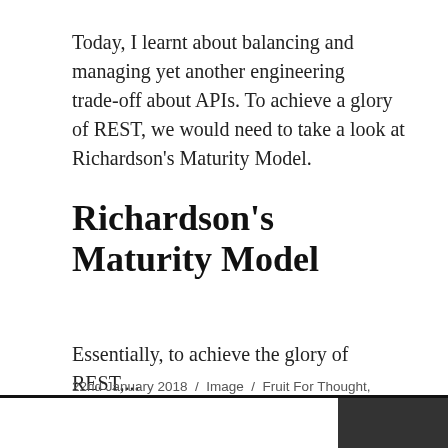Today, I learnt about balancing and managing yet another engineering trade-off about APIs. To achieve a glory of REST, we would need to take a look at Richardson’s Maturity Model.
Richardson’s Maturity Model
Essentially, to achieve the glory of REST,...
22nd January 2018 / Image / Fruit For Thought, Information Technology, IT Softwares, Programming / API, atomicity, database, engineering, programming, trade-offs / Leave a comment